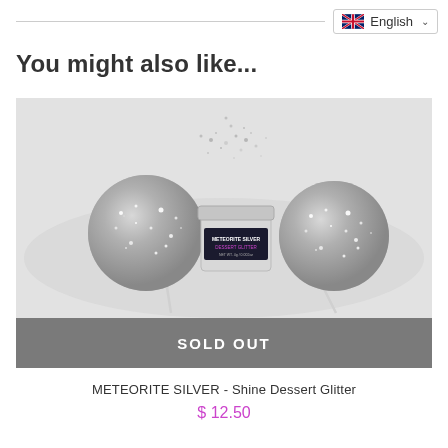English
You might also like...
[Figure (photo): Product photo showing two silver glitter lollipop balls and a small jar of Meteorite Silver Dessert Glitter with silver glitter scattered above it, on a white/light grey background. A grey 'SOLD OUT' banner overlays the bottom of the image.]
METEORITE SILVER - Shine Dessert Glitter
$ 12.50